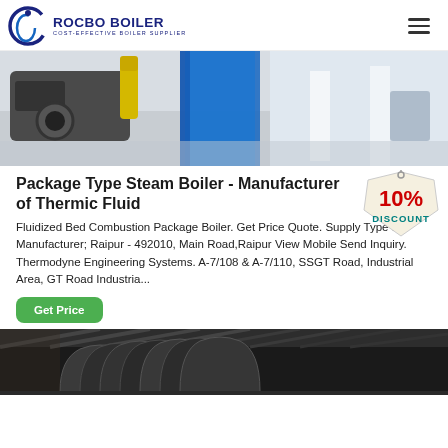ROCBO BOILER - COST-EFFECTIVE BOILER SUPPLIER
[Figure (photo): Industrial boiler equipment photo showing yellow and blue machinery components in a facility]
Package Type Steam Boiler - Manufacturer of Thermic Fluid
[Figure (illustration): 10% DISCOUNT badge/tag graphic in red and teal colors]
Fluidized Bed Combustion Package Boiler. Get Price Quote. Supply Type : Manufacturer; Raipur - 492010, Main Road,Raipur View Mobile Send Inquiry. Thermodyne Engineering Systems. A-7/108 & A-7/110, SSGT Road, Industrial Area, GT Road Industria...
Get Price
[Figure (photo): Industrial boiler piping and structural steel interior photo]